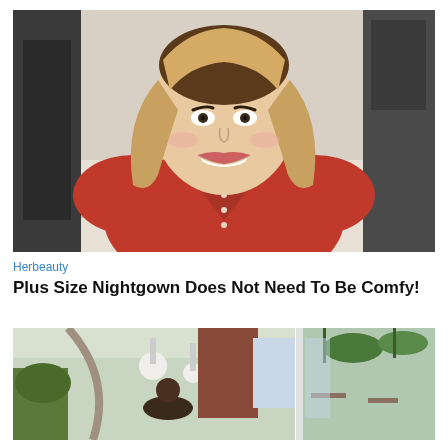[Figure (photo): A smiling woman with blonde highlighted hair wearing a red button-up shirt, photographed indoors with a kitchen background.]
Herbeauty
Plus Size Nightgown Does Not Need To Be Comfy!
[Figure (photo): A composite image of two restaurant/cafe interior photos side by side showing plants, pendant lighting, and seating areas.]